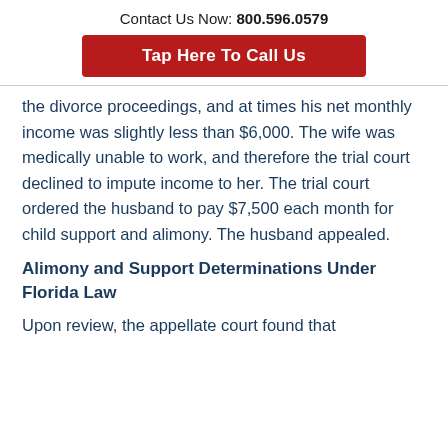Contact Us Now: 800.596.0579
[Figure (other): Red button with white text: Tap Here To Call Us]
the divorce proceedings, and at times his net monthly income was slightly less than $6,000. The wife was medically unable to work, and therefore the trial court declined to impute income to her. The trial court ordered the husband to pay $7,500 each month for child support and alimony. The husband appealed.
Alimony and Support Determinations Under Florida Law
Upon review, the appellate court found that